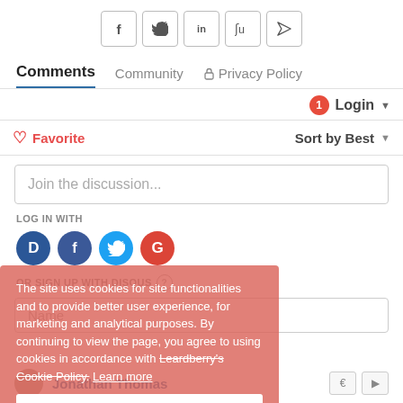[Figure (infographic): Row of 5 social share buttons: Facebook (f), Twitter (bird), LinkedIn (in), StumbleUpon (su), send/share (arrow)]
Comments  Community  🔒 Privacy Policy
🔔1  Login ▾
♡ Favorite    Sort by Best ▾
Join the discussion...
LOG IN WITH
[Figure (infographic): Four social login circles: Disqus (D), Facebook (F), Twitter (T), Google (G)]
OR SIGN UP WITH DISQUS (?)
Name
The site uses cookies for site functionalities and to provide better user experience, for marketing and analytical purposes. By continuing to view the page, you agree to using cookies in accordance with Leardberry's Cookie Policy.  Learn more
Got it!
Jonathan Thomas